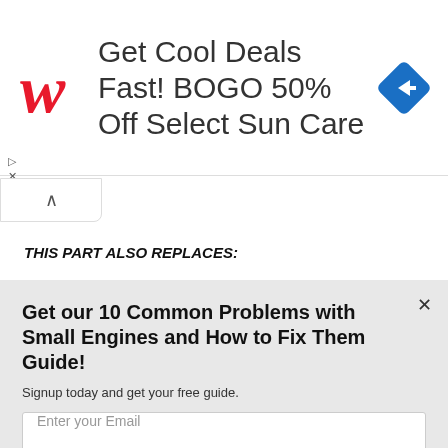[Figure (other): Walgreens advertisement banner: 'Get Cool Deals Fast! BOGO 50% Off Select Sun Care' with Walgreens script W logo and a blue diamond navigation icon]
[Figure (other): Collapse/chevron up tab button]
THIS PART ALSO REPLACES:
Murray 792456
Snapper 792456
and others
[Figure (logo): Powered by Sumo badge/logo]
Get our 10 Common Problems with Small Engines and How to Fix Them Guide!
Signup today and get your free guide.
Enter your Email
Subscribe Now